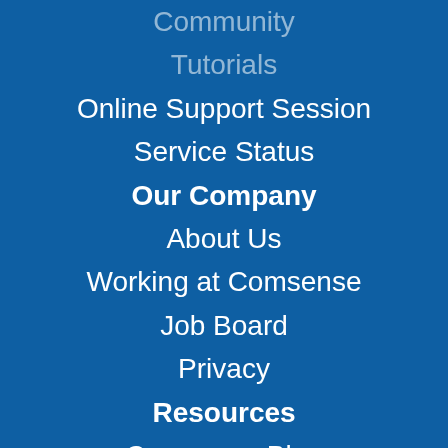Community
Tutorials
Online Support Session
Service Status
Our Company
About Us
Working at Comsense
Job Board
Privacy
Resources
Comsense Blog
Price List Updates
Newsletter Signup
Past Newsletters
Contact